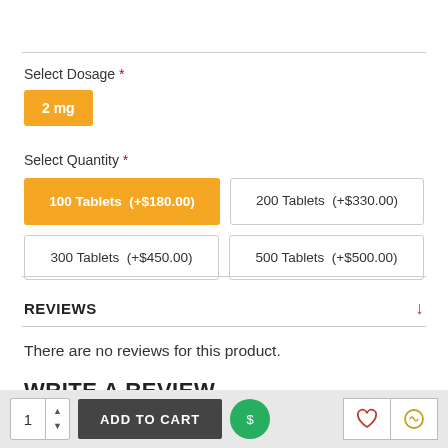Select Dosage *
2 mg
Select Quantity *
100 Tablets  (+$180.00)
200 Tablets  (+$330.00)
300 Tablets  (+$450.00)
500 Tablets  (+$500.00)
REVIEWS
There are no reviews for this product.
WRITE A REVIEW
1  ADD TO CART